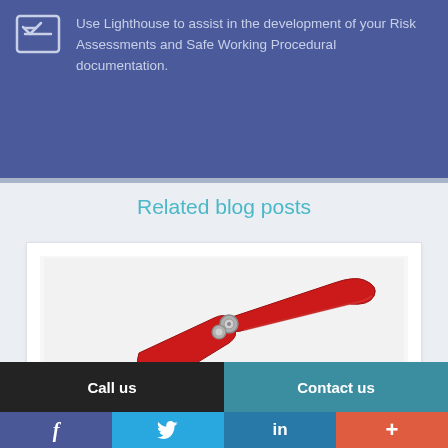Use Lighthouse to assist in the development of your Risk Assessments and Safe Working Procedural documentation.
Related blog posts
[Figure (photo): Photo of a red handheld tool (appears to be a plier or crimping tool) on a light background.]
Call us
Contact us
f
Twitter bird icon
in
+